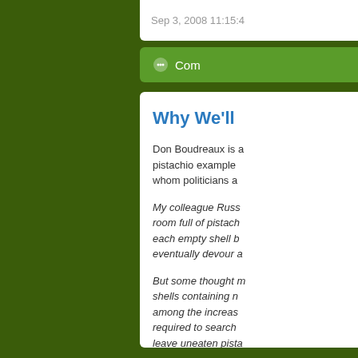Sep 3, 2008 11:15:4
Com
Why We'll
Don Boudreaux is a pistachio example whom politicians a
My colleague Russ room full of pistach each empty shell b eventually devour a
But some thought m shells containing n among the increas required to search leave uneaten pista